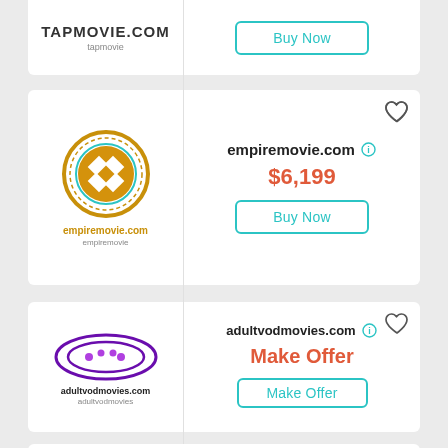[Figure (screenshot): Partial domain listing card for tapmovie.com showing logo and Buy Now button]
[Figure (screenshot): Domain listing card for empiremovie.com with orange/gold circular logo, price $6,199, and Buy Now button]
[Figure (screenshot): Domain listing card for adultvodmovies.com with purple swirl logo, Make Offer pricing, and Make Offer button]
[Figure (screenshot): Partial domain listing card at bottom of page]